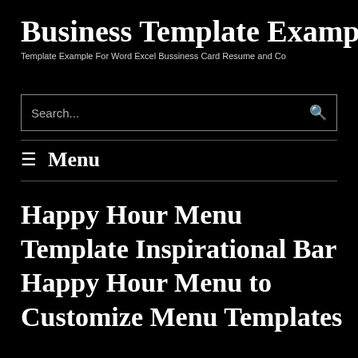Business Template Example
Template Example For Word Excel Bussiness Card Resume and Co
Search...
≡ Menu
Happy Hour Menu Template Inspirational Bar Happy Hour Menu to Customize Menu Templates